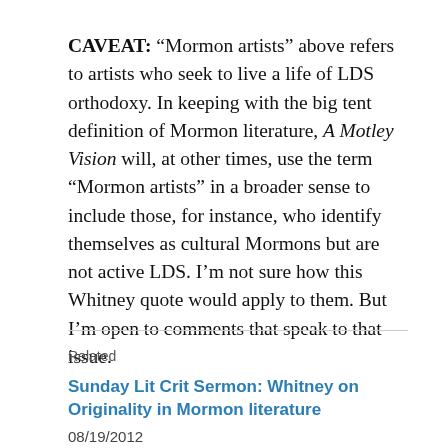CAVEAT: “Mormon artists” above refers to artists who seek to live a life of LDS orthodoxy. In keeping with the big tent definition of Mormon literature, A Motley Vision will, at other times, use the term “Mormon artists” in a broader sense to include those, for instance, who identify themselves as cultural Mormons but are not active LDS. I’m not sure how this Whitney quote would apply to them. But I’m open to comments that speak to that issue.
Related
Sunday Lit Crit Sermon: Whitney on Originality in Mormon literature
08/19/2012